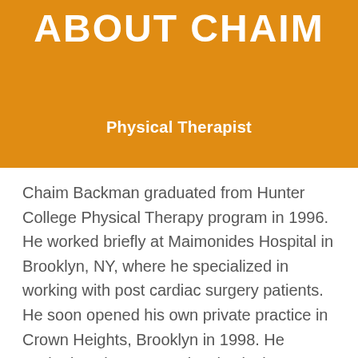ABOUT CHAIM
Physical Therapist
Chaim Backman graduated from Hunter College Physical Therapy program in 1996. He worked briefly at Maimonides Hospital in Brooklyn, NY, where he specialized in working with post cardiac surgery patients. He soon opened his own private practice in Crown Heights, Brooklyn in 1998. He worked as the community physical therapist, doing both office visits, as well as home visits for those too sick to come to the office. Over recent years, the trend in health care is to discharge a